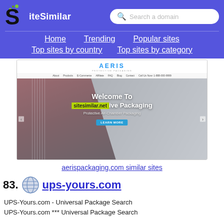SiteSimilar — Search a domain — Home Trending Popular sites Top sites by country Top sites by category
[Figure (screenshot): Screenshot of aerispackaging.com showing AERIS Protective Packaging website with guitar image and 'Welcome To sitesimilar.net ive Packaging' overlay text]
aerispackaging.com similar sites
83. ups-yours.com — UPS-Yours.com - Universal Package Search UPS-Yours.com *** Universal Package Search